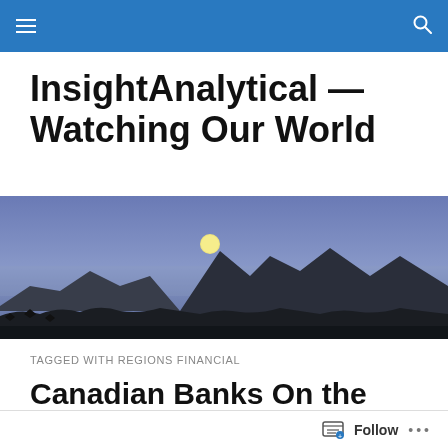InsightAnalytical — Watching Our World (navigation bar)
InsightAnalytical — Watching Our World
[Figure (photo): Panoramic dusk/twilight landscape photo showing mountain range silhouette with a full moon rising above the peaks, purple-blue sky gradient, dark tree silhouettes in foreground.]
TAGGED WITH REGIONS FINANCIAL
Canadian Banks On the Move Buying U.S. Banks While Bailout Recipient AIG...